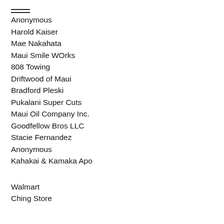Anonymous
Harold Kaiser
Mae Nakahata
Maui Smile WOrks
808 Towing
Driftwood of Maui
Bradford Pleski
Pukalani Super Cuts
Maui Oil Company Inc.
Goodfellow Bros LLC
Stacie Fernandez
Anonymous
Kahakai & Kamaka Apo
Walmart
Ching Store